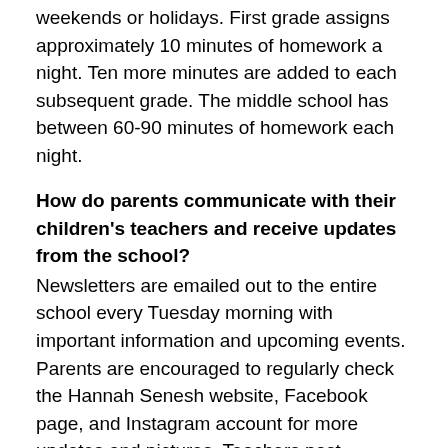weekends or holidays. First grade assigns approximately 10 minutes of homework a night. Ten more minutes are added to each subsequent grade. The middle school has between 60-90 minutes of homework each night.
How do parents communicate with their children's teachers and receive updates from the school?
Newsletters are emailed out to the entire school every Tuesday morning with important information and upcoming events. Parents are encouraged to regularly check the Hannah Senesh website, Facebook page, and Instagram account for more updates and pictures. Teachers post frequently on class assemblies and important